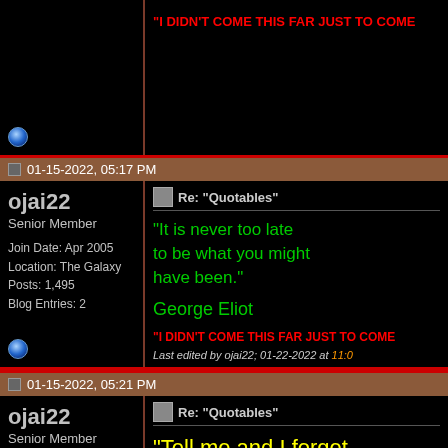[Figure (screenshot): Top partial forum post from ojai22, showing red signature text and user status icon on black background]
01-15-2022, 05:17 PM
ojai22
Senior Member
Join Date: Apr 2005
Location: The Galaxy
Posts: 1,495
Blog Entries: 2
Re: "Quotables"
"It is never too late to be what you might have been."
George Eliot
"I DIDN'T COME THIS FAR JUST TO COME
Last edited by ojai22; 01-22-2022 at 11:0
01-15-2022, 05:21 PM
ojai22
Senior Member
Join Date: Apr 2005
Location: The Galaxy
Posts: 1,495
Blog Entries: 2
Re: "Quotables"
"Tell me and I forget. Teach me and I remember. Involve me and I learn."